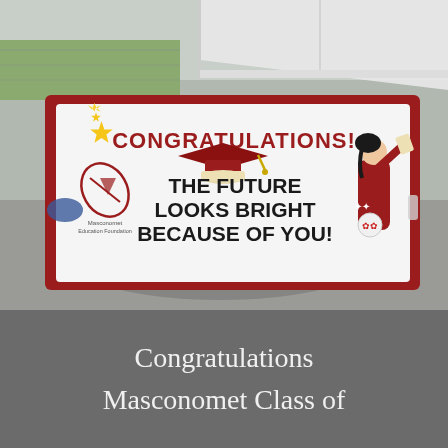[Figure (photo): Outdoor photo of a large banner hung on a chain-link fence near a white tent. The banner has a dark red/maroon border and a white background. It reads 'CONGRATULATIONS!' in large red arched text at the top, with a red graduation cap and diploma graphic in the center-top. Below that in large bold black text: 'THE FUTURE LOOKS BRIGHT BECAUSE OF YOU!' On the left side of the banner is the Masconomet Education Foundation logo (a red rocket/pen symbol). On the right side is an illustration of a graduate in red gown raising a diploma. Yellow sparkle/star graphics appear in the upper left of the banner.]
Congratulations

Masconomet Class of